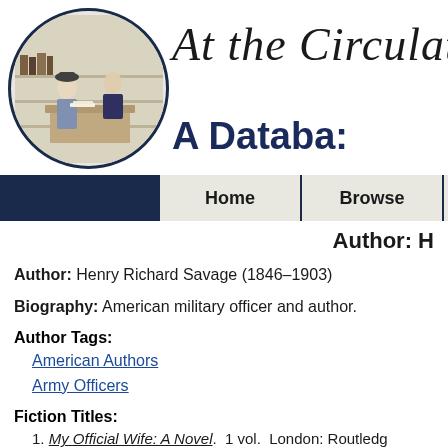[Figure (illustration): Circular illustration of a library or bookshop scene with two figures — a woman and a man — at a counter with books]
At the Circulati...
A Databa...
Home | Browse
Author: H...
Author: Henry Richard Savage (1846–1903)
Biography: American military officer and author.
Author Tags:
American Authors
Army Officers
Fiction Titles:
1. My Official Wife: A Novel.  1 vol.  London: Routledg...
2. The Little Lady of Lagunitas: A Franco-Californian...